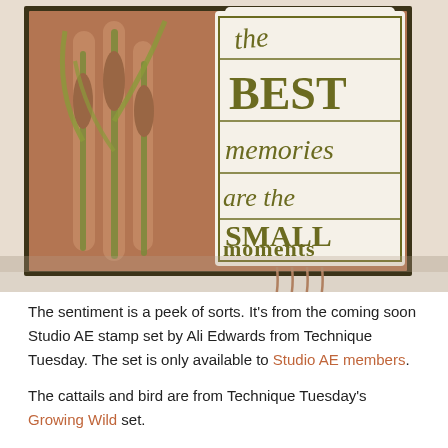[Figure (photo): A handmade scrapbook/greeting card on a kraft brown background with a dark olive border. The card features die-cut cattails on the left side and a white sentiment tag on the right reading 'the BEST memories are the SMALL moments' in olive/dark green lettering. Ribbon or twine hangs from the bottom of the card.]
The sentiment is a peek of sorts. It's from the coming soon Studio AE stamp set by Ali Edwards from Technique Tuesday. The set is only available to Studio AE members.
The cattails and bird are from Technique Tuesday's Growing Wild set.